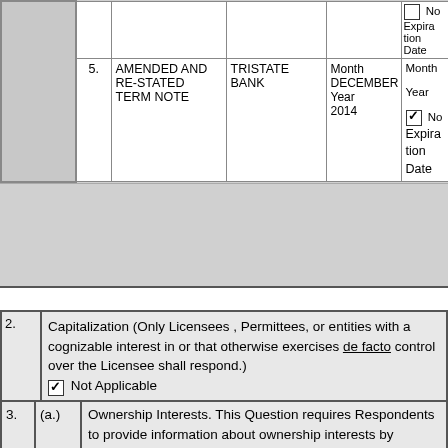| # | Note Type | Lender | Execution Date | Expiration |
| --- | --- | --- | --- | --- |
|  |  |  |  | No Expiration Date |
| 5. | AMENDED AND RE-STATED TERM NOTE | TRISTATE BANK | Month DECEMBER Year 2014 | Month
Year
[checked] No Expiration Date |
2. Capitalization (Only Licensees , Permittees, or entities with a cognizable interest in or that otherwise exercises de facto control over the Licensee shall respond.) [checked] Not Applicable [Enter Capitalization Information]
3. (a.) Ownership Interests. This Question requires Respondents to provide information about ownership interests by generating a series of subforms. Answer each question on each subform. The first subform listed will be for the Respondent itself. If the Respondent is not a natural...